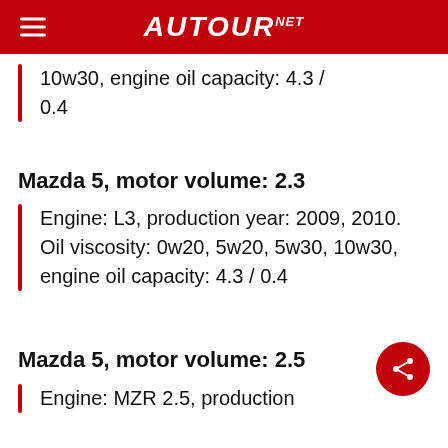AUTOUR NET
10w30, engine oil capacity: 4.3 / 0.4
Mazda 5, motor volume: 2.3
Engine: L3, production year: 2009, 2010. Oil viscosity: 0w20, 5w20, 5w30, 10w30, engine oil capacity: 4.3 / 0.4
Mazda 5, motor volume: 2.5
Engine: MZR 2.5, production